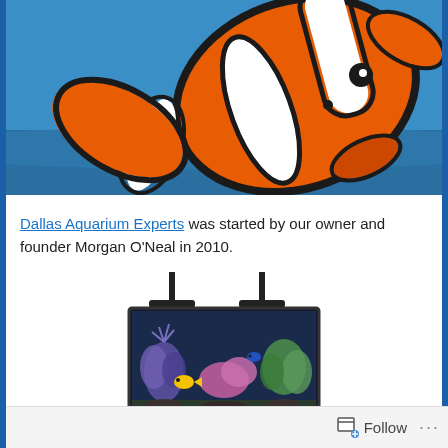[Figure (illustration): Illustrated clownfish (orange with white and black stripes) on a blue ocean background, cropped at the top of the image.]
Dallas Aquarium Experts was started by our owner and founder Morgan O'Neal in 2010.
[Figure (photo): Photo of a rectangular saltwater aquarium tank with two T-bar LED lights mounted above it, filled with colorful corals and a yellow fish inside.]
Follow ...